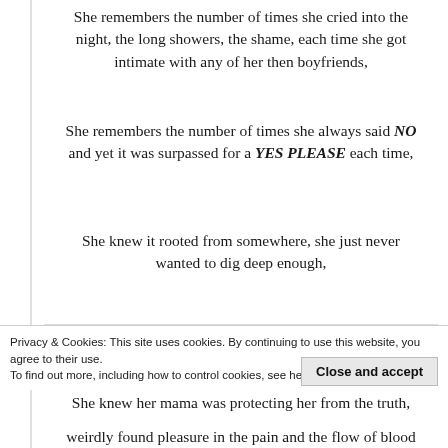She remembers the number of times she cried into the night, the long showers, the shame, each time she got intimate with any of her then boyfriends,
She remembers the number of times she always said NO and yet it was surpassed for a YES PLEASE each time,
She knew it rooted from somewhere, she just never wanted to dig deep enough,
[Figure (other): Advertisement banner with text: same page is easy. And free.]
She knew her mama was protecting her from the truth,
Privacy & Cookies: This site uses cookies. By continuing to use this website, you agree to their use. To find out more, including how to control cookies, see here: Cookie Policy
weirdly found pleasure in the pain and the flow of blood